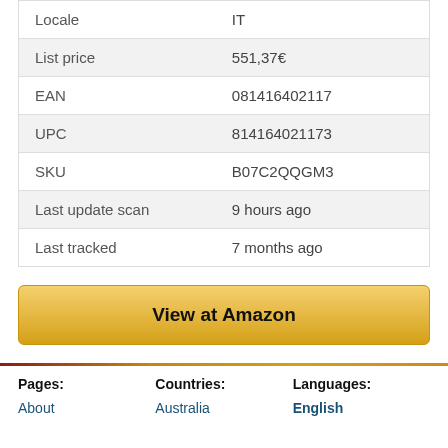| Field | Value |
| --- | --- |
| Locale | IT |
| List price | 551,37€ |
| EAN | 081416402117 |
| UPC | 814164021173 |
| SKU | B07C2QQGM3 |
| Last update scan | 9 hours ago |
| Last tracked | 7 months ago |
View at Amazon
Pages: About   Countries: Australia   Languages: English